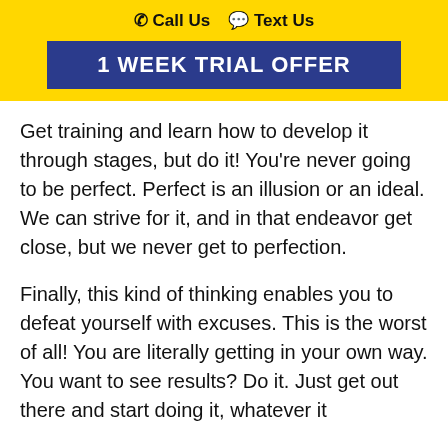Call Us   Text Us
1 WEEK TRIAL OFFER
Get training and learn how to develop it through stages, but do it! You're never going to be perfect. Perfect is an illusion or an ideal. We can strive for it, and in that endeavor get close, but we never get to perfection.
Finally, this kind of thinking enables you to defeat yourself with excuses. This is the worst of all! You are literally getting in your own way. You want to see results? Do it. Just get out there and start doing it, whatever it